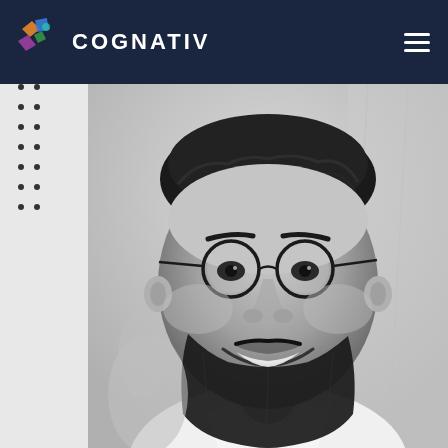COGNATIV
[Figure (logo): Cognativ logo with colorful geometric shapes and white text on dark navy background]
[Figure (photo): Black and white portrait photo of a man with glasses, beard, and hair pulled back, smiling, wearing a white shirt]